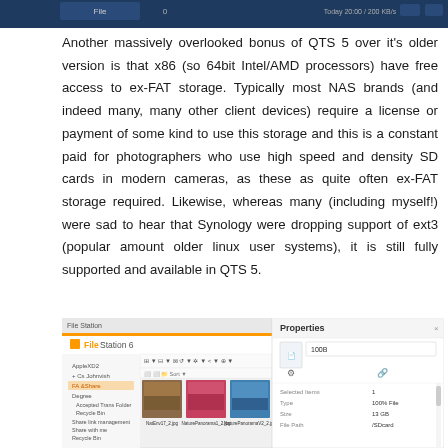[Figure (screenshot): Top portion of a screenshot showing a NAS/QTS interface with dark header bar]
Another massively overlooked bonus of QTS 5 over it's older version is that x86 (so 64bit Intel/AMD processors) have free access to ex-FAT storage. Typically most NAS brands (and indeed many, many other client devices) require a license or payment of some kind to use this storage and this is a constant paid for photographers who use high speed and density SD cards in modern cameras, as these as quite often ex-FAT storage required. Likewise, whereas many (including myself!) were sad to hear that Synology were dropping support of ext3 (popular amount older linux user systems), it is still fully supported and available in QTS 5.
[Figure (screenshot): Screenshot of QNAP FileStation 6 interface showing file browser with nature photos and a Properties panel on the right]